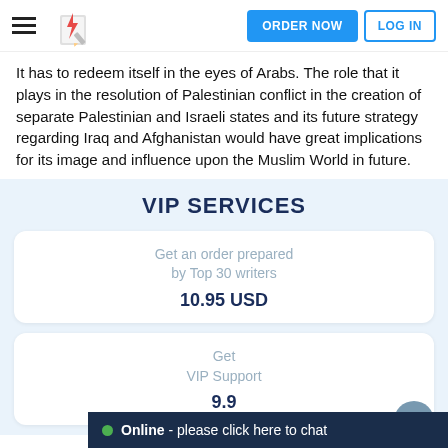ORDER NOW  LOG IN
It has to redeem itself in the eyes of Arabs. The role that it plays in the resolution of Palestinian conflict in the creation of separate Palestinian and Israeli states and its future strategy regarding Iraq and Afghanistan would have great implications for its image and influence upon the Muslim World in future.
VIP SERVICES
Get an order prepared by Top 30 writers
10.95 USD
Get VIP Support
9.9...